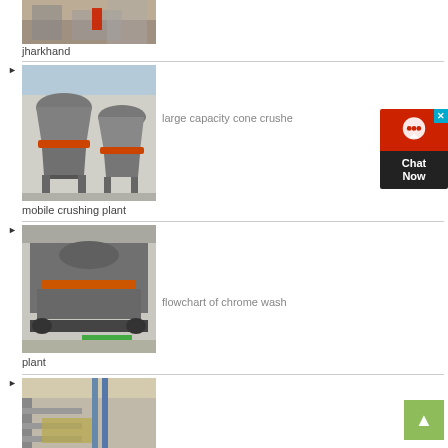[Figure (photo): Industrial crushing machine (top, partially visible) in a factory setting]
jharkhand
[Figure (photo): Two large capacity cone crushers in a factory/warehouse setting]
large capacity cone crusher
mobile crushing plant
[Figure (photo): Mobile crushing plant machine, large grey industrial equipment in a factory]
flowchart of chrome wash plant
plant
[Figure (photo): Industrial conveyor/screening equipment in a factory, partially visible at bottom]